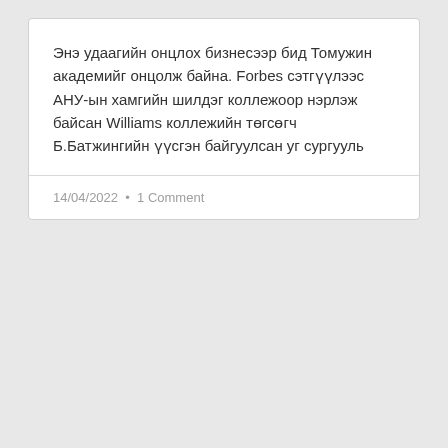Энэ удаагийн онцлох бизнесээр бид Томужин академийг онцолж байна. Forbes сэтгүүлээс АНУ-ын хамгийн шилдэг коллежоор нэрлэж байсан Williams коллежийн төгсөгч Б.Батжингийн үүсгэн байгуулсан уг сургууль
14/04/2022 • 1 Comment